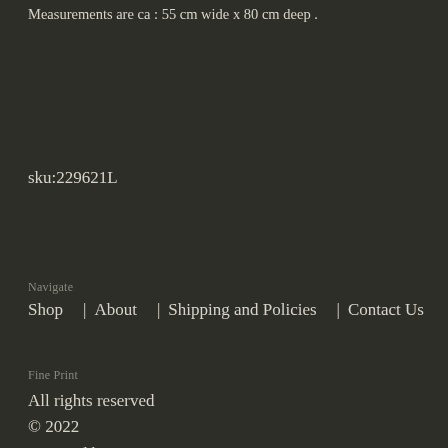Measurements are ca : 55 cm wide x 80 cm deep .
sku:229621L
Navigate
Shop
About
Shipping and Policies
Contact Us
Fine Print
All rights reserved
© 2022
Powered by Etsy